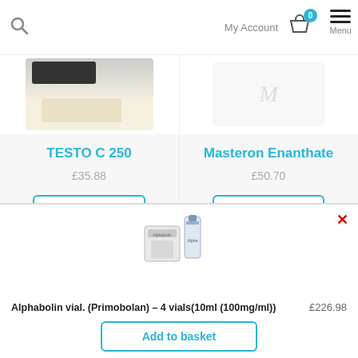My Account  0  Menu
TESTO C 250
£35.88
Add to basket
Masteron Enanthate
£50.70
Add to basket
[Figure (photo): Product image of Alphabolin vial (Primobolan)]
Alphabolin vial. (Primobolan) – 4 vials(10ml (100mg/ml))  £226.98
Add to basket